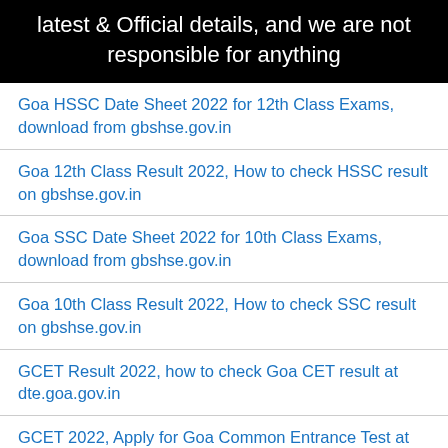latest & Official details, and we are not responsible for anything
Goa HSSC Date Sheet 2022 for 12th Class Exams, download from gbshse.gov.in
Goa 12th Class Result 2022, How to check HSSC result on gbshse.gov.in
Goa SSC Date Sheet 2022 for 10th Class Exams, download from gbshse.gov.in
Goa 10th Class Result 2022, How to check SSC result on gbshse.gov.in
GCET Result 2022, how to check Goa CET result at dte.goa.gov.in
GCET 2022, Apply for Goa Common Entrance Test at dte.goa.gov.in